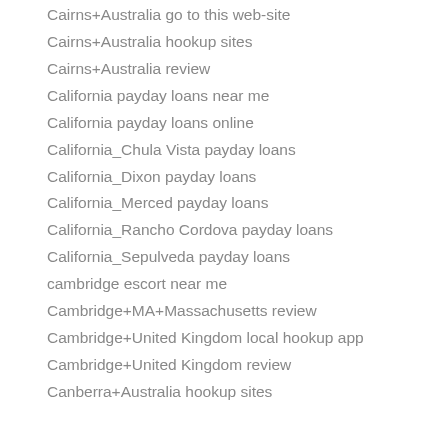Cairns+Australia go to this web-site
Cairns+Australia hookup sites
Cairns+Australia review
California payday loans near me
California payday loans online
California_Chula Vista payday loans
California_Dixon payday loans
California_Merced payday loans
California_Rancho Cordova payday loans
California_Sepulveda payday loans
cambridge escort near me
Cambridge+MA+Massachusetts review
Cambridge+United Kingdom local hookup app
Cambridge+United Kingdom review
Canberra+Australia hookup sites